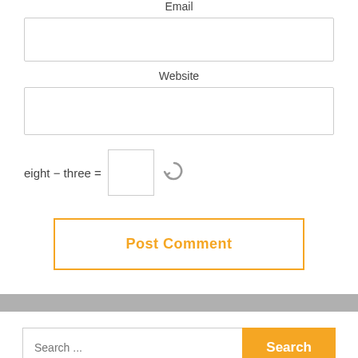Email
Website
eight − three =
Post Comment
Search ...
Search